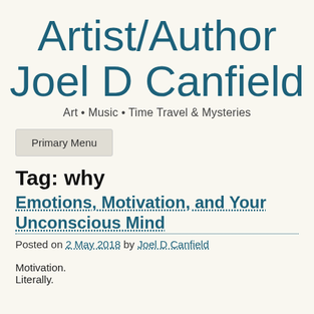Artist/Author Joel D Canfield
Art • Music • Time Travel & Mysteries
Primary Menu
Tag: why
Emotions, Motivation, and Your Unconscious Mind
Posted on 2 May 2018 by Joel D Canfield
Motivation.
Literally.